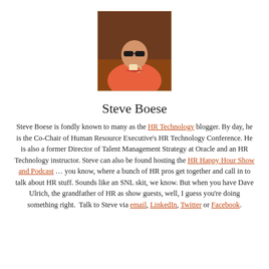[Figure (photo): Headshot photo of Steve Boese wearing sunglasses and a red/coral shirt, holding a cup]
Steve Boese
Steve Boese is fondly known to many as the HR Technology blogger. By day, he is the Co-Chair of Human Resource Executive's HR Technology Conference. He is also a former Director of Talent Management Strategy at Oracle and an HR Technology instructor. Steve can also be found hosting the HR Happy Hour Show and Podcast … you know, where a bunch of HR pros get together and call in to talk about HR stuff. Sounds like an SNL skit, we know. But when you have Dave Ulrich, the grandfather of HR as show guests, well, I guess you're doing something right. Talk to Steve via email, LinkedIn, Twitter or Facebook.